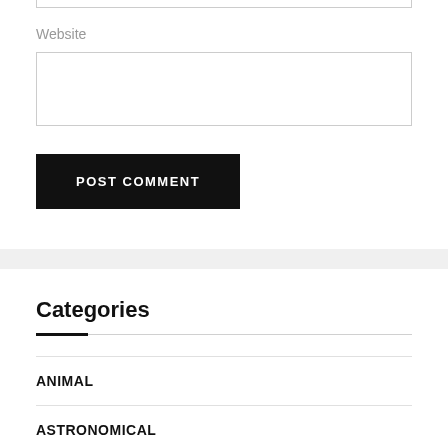Website
POST COMMENT
Categories
ANIMAL
ASTRONOMICAL
CELEBRITY